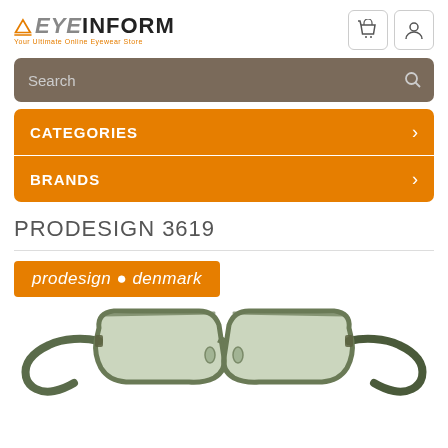[Figure (logo): EyeInform logo with orange arrow and text, subtitle 'Your Ultimate Online Eyewear Store']
[Figure (screenshot): Search bar with brown/grey background and magnifying glass icon]
CATEGORIES
BRANDS
PRODESIGN 3619
[Figure (logo): prodesign : denmark orange badge logo]
[Figure (photo): Green transparent rectangular eyeglasses frames - Prodesign 3619]